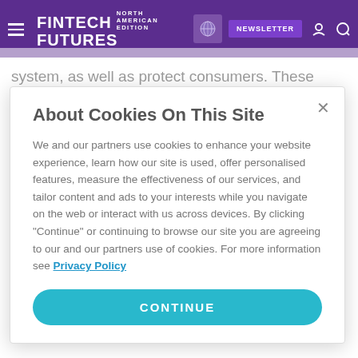FINTECH FUTURES NORTH AMERICAN EDITION | NEWSLETTER
system, as well as protect consumers. These regulations can cover financial crimes, such as money laundering and fraud, and can also address banking secrecy rules which (in some jurisdictions) forbid financial institutions from revealing certain
About Cookies On This Site
We and our partners use cookies to enhance your website experience, learn how our site is used, offer personalised features, measure the effectiveness of our services, and tailor content and ads to your interests while you navigate on the web or interact with us across devices. By clicking "Continue" or continuing to browse our site you are agreeing to our and our partners use of cookies. For more information see Privacy Policy
CONTINUE